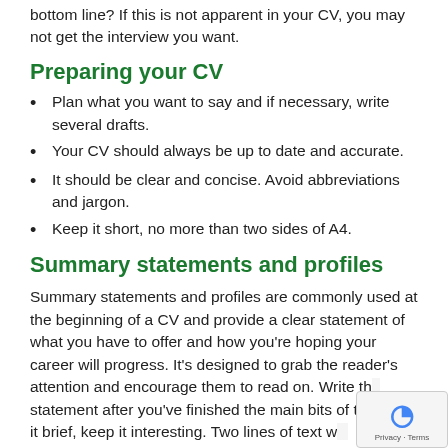bottom line? If this is not apparent in your CV, you may not get the interview you want.
Preparing your CV
Plan what you want to say and if necessary, write several drafts.
Your CV should always be up to date and accurate.
It should be clear and concise. Avoid abbreviations and jargon.
Keep it short, no more than two sides of A4.
Summary statements and profiles
Summary statements and profiles are commonly used at the beginning of a CV and provide a clear statement of what you have to offer and how you're hoping your career will progress. It's designed to grab the reader's attention and encourage them to read on. Write the statement after you've finished the main bits of the CV. Keep it brief, keep it interesting. Two lines of text will do.